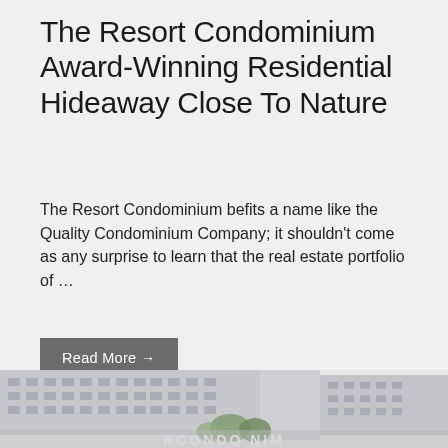The Resort Condominium Award-Winning Residential Hideaway Close To Nature
The Resort Condominium befits a name like the Quality Condominium Company; it shouldn't come as any surprise to learn that the real estate portfolio of …
Read More →
[Figure (photo): Aerial/street-level photo of large white multi-story condominium buildings with trees in the foreground. Text overlay at bottom reads 'RCONDO NIM'.]